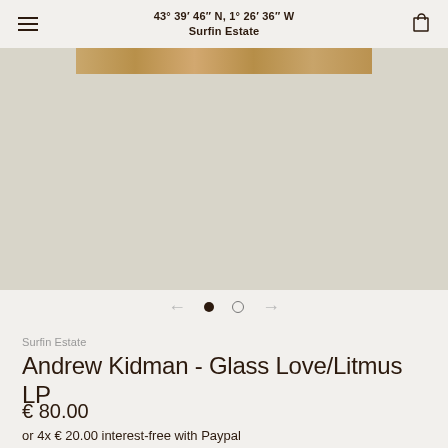43° 39′ 46″ N, 1° 26′ 36″ W
Surfin Estate
[Figure (photo): Product image area showing a light beige/cream background with a narrow cork or wood-grain strip near the top, representing a surfboard or product packaging]
Surfin Estate
Andrew Kidman - Glass Love/Litmus LP
€ 80.00
or 4x € 20.00 interest-free with Paypal